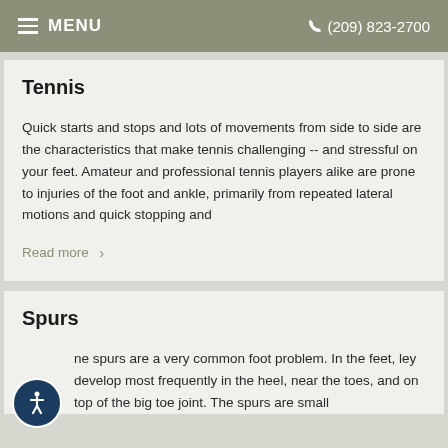MENU   (209) 823-2700
Tennis
Quick starts and stops and lots of movements from side to side are the characteristics that make tennis challenging -- and stressful on your feet. Amateur and professional tennis players alike are prone to injuries of the foot and ankle, primarily from repeated lateral motions and quick stopping and
Read more >
Spurs
Bone spurs are a very common foot problem. In the feet, they develop most frequently in the heel, near the toes, and on top of the big toe joint. The spurs are small